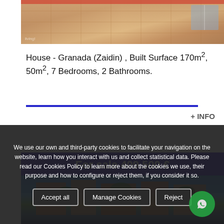[Figure (photo): Rooftop terrace with red/orange tile flooring, partial view of building exterior and windows]
House - Granada (Zaidin) , Built Surface 170m², 50m², 7 Bedrooms, 2 Bathrooms.
[Figure (photo): Blue 'For sale 409.500 €' banner overlaid on photo of apartment building with palm trees and blue sky]
We use our own and third-party cookies to facilitate your navigation on the website, learn how you interact with us and collect statistical data. Please read our Cookies Policy to learn more about the cookies we use, their purpose and how to configure or reject them, if you consider it so.
Accept all
Manage Cookies
Reject